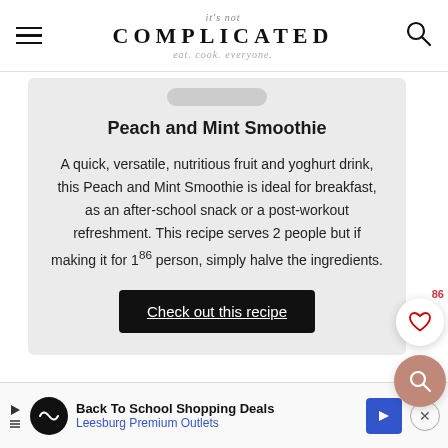it's not COMPLICATED - eat. cook. everyone.
Peach and Mint Smoothie
A quick, versatile, nutritious fruit and yoghurt drink, this Peach and Mint Smoothie is ideal for breakfast, as an after-school snack or a post-workout refreshment. This recipe serves 2 people but if making it for 1 person, simply halve the ingredients.
Check out this recipe
Back To School Shopping Deals Leesburg Premium Outlets